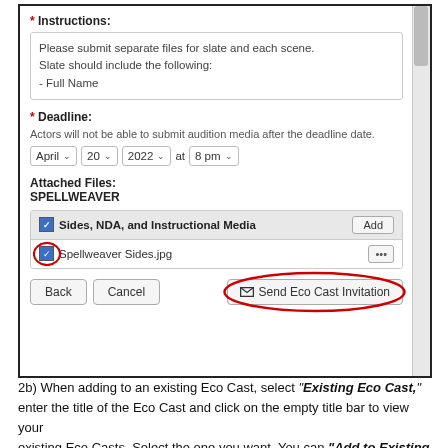[Figure (screenshot): Screenshot of a web form showing Instructions field with text about submitting separate files, a Deadline field set to April 20 2022 at 8 pm, Attached Files section showing SPELLWEAVER project with Sides NDA and Instructional Media checkbox and Spellweaver Sides.jpg file (highlighted with red circle), and buttons: Back, Cancel, and Send Eco Cast Invitation (highlighted with red oval).]
2b) When adding to an existing Eco Cast, select "Existing Eco Cast," enter the title of the Eco Cast and click on the empty title bar to view your existing Eco Casts. Select the one you want. You can "Add to Existing Invitation" which means the Actor(s) will receive the same invitation previously sent. You also have the option to "Create A New Invitation" which will allow you to send a different invitation to this Actor(s).